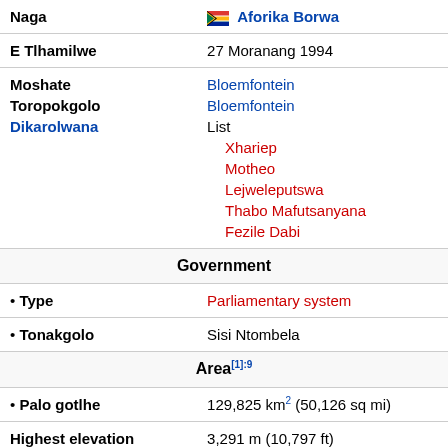| Naga | Aforika Borwa |
| E Tlhamilwe | 27 Moranang 1994 |
| Moshate
Toropokgolo
Dikarolwana | Bloemfontein
Bloemfontein
List
  Xhariep
  Motheo
  Lejweleputswa
  Thabo Mafutsanyana
  Fezile Dabi |
| Government |  |
| • Type | Parliamentary system |
| • Tonakgolo | Sisi Ntombela |
| Area[1]:9 |  |
| • Palo gotlhe | 129,825 km2 (50,126 sq mi) |
| Highest elevation | 3,291 m (10,797 ft) |
| Ditlhopha tsa Batho[1]:21 |  |
| • Bantsho | 87.6% |
| • Basweu | 8.7% |
| • MaKhalathi | 3.1% |
| • MaIndia | 0.4% |